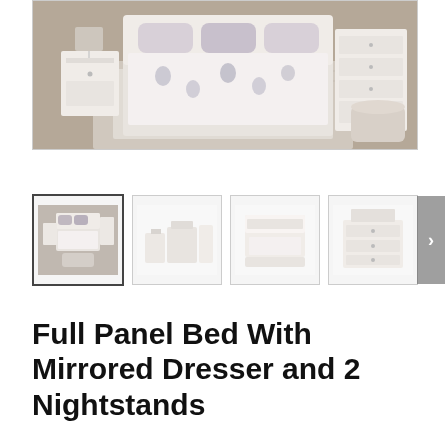[Figure (photo): Bedroom furniture set in white/off-white finish: full panel bed with floral bedding, two nightstands, dresser with mirror, and a small upholstered pouf on a layered rug.]
[Figure (photo): Thumbnail 1 (active/selected): bedroom set scene with bed, nightstands, dresser.]
[Figure (photo): Thumbnail 2: overhead/side view of white bedroom furniture pieces against white background.]
[Figure (photo): Thumbnail 3: front view of white full panel bed frame against white background.]
[Figure (photo): Thumbnail 4: white dresser with mirror against white background.]
Full Panel Bed With Mirrored Dresser and 2 Nightstands